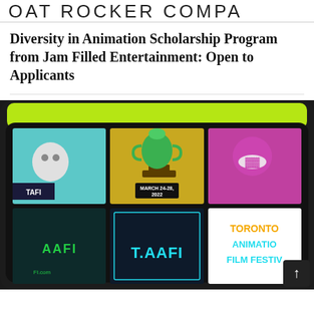OAT ROCKER COMPA
Diversity in Animation Scholarship Program from Jam Filled Entertainment: Open to Applicants
[Figure (screenshot): Animation festival promotional image showing a retro TV screen with six panels: cartoon characters, a trophy with text 'March 24-28, 2022', and panels reading 'AAFI', 'T.AAFI', 'Toronto Animation Film Festival'. Bottom right corner has a dark scroll-up button with an up arrow.]